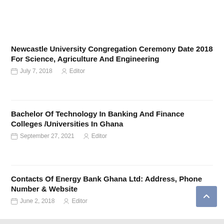Newcastle University Congregation Ceremony Date 2018 For Science, Agriculture And Engineering
July 7, 2018  Editor
Bachelor Of Technology In Banking And Finance Colleges /Universities In Ghana
September 27, 2021  Editor
Contacts Of Energy Bank Ghana Ltd: Address, Phone Number & Website
June 2, 2018  Editor